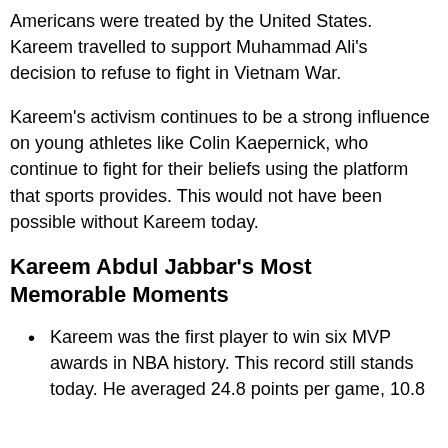Americans were treated by the United States. Kareem travelled to support Muhammad Ali's decision to refuse to fight in Vietnam War.
Kareem's activism continues to be a strong influence on young athletes like Colin Kaepernick, who continue to fight for their beliefs using the platform that sports provides. This would not have been possible without Kareem today.
Kareem Abdul Jabbar's Most Memorable Moments
Kareem was the first player to win six MVP awards in NBA history. This record still stands today. He averaged 24.8 points per game, 10.8